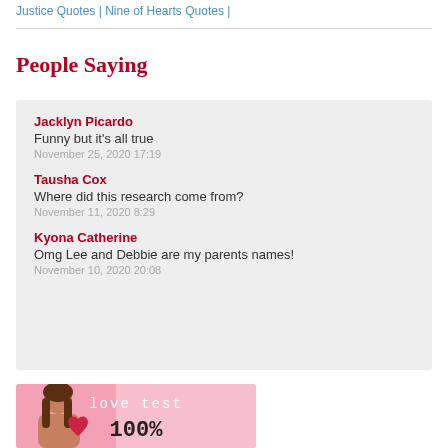Justice Quotes | Nine of Hearts Quotes |
People Saying
Jacklyn Picardo
Funny but it's all true
November 25, 2020 17:19
Tausha Cox
Where did this research come from?
November 11, 2020 8:29
Kyona Catherine
Omg Lee and Debbie are my parents names!
November 10, 2020 20:08
[Figure (photo): Advertisement banner with a woman holding a heart, text reads 'love test 100%' on a pink background]